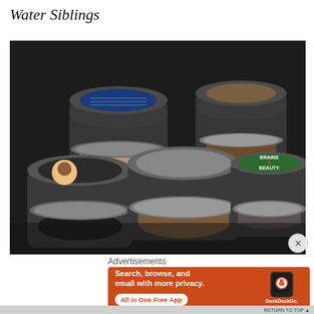Water Siblings
[Figure (photo): Multiple open cosmetic powder jars on a dark leather surface. Jars contain various colored pigments/powders. One jar has a 'Brains 4 Beauty' green label, another has a cartoon character label, and one has a blue geometric label.]
Advertisements
[Figure (infographic): DuckDuckGo advertisement banner on orange background. Text: 'Search, browse, and email with more privacy. All in One Free App' with a smartphone showing the DuckDuckGo duck logo and 'DuckDuckGo.' text below.]
RETURN TO TOP ↑